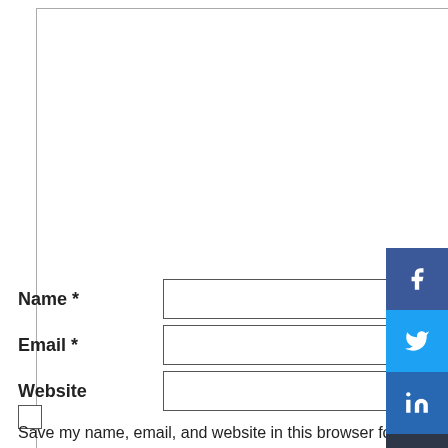[Figure (screenshot): Comment form with textarea, Name, Email, Website input fields, a checkbox, and social sharing sidebar with Facebook, Twitter, LinkedIn, Copy, Email, and More buttons]
Name *
Email *
Website
Save my name, email, and website in this browser for